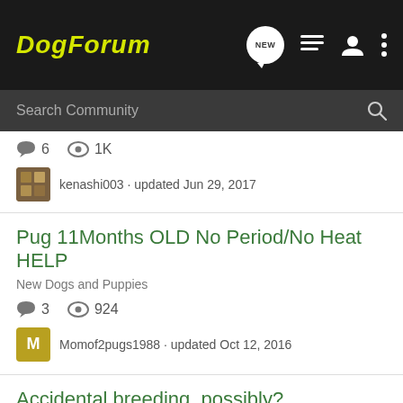[Figure (screenshot): DogForum website header with logo and navigation icons]
Search Community
6  1K
kenashi003 · updated Jun 29, 2017
Pug 11Months OLD No Period/No Heat HELP
New Dogs and Puppies
3  924
Momof2pugs1988 · updated Oct 12, 2016
Accidental breeding, possibly?
Dog Health and Food
3  1K